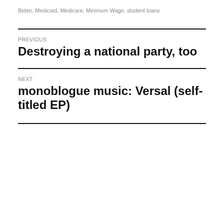Biden, Medicaid, Medicare, Minimum Wage, student loans
PREVIOUS
Destroying a national party, too
NEXT
monoblogue music: Versal (self-titled EP)